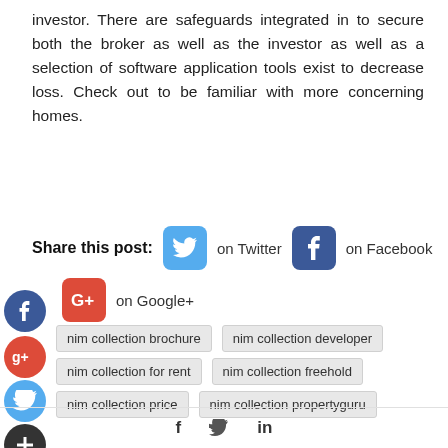investor. There are safeguards integrated in to secure both the broker as well as the investor as well as a selection of software application tools exist to decrease loss. Check out to be familiar with more concerning homes.
Share this post: on Twitter on Facebook on Google+
nim collection brochure
nim collection developer
nim collection for rent
nim collection freehold
nim collection price
nim collection propertyguru